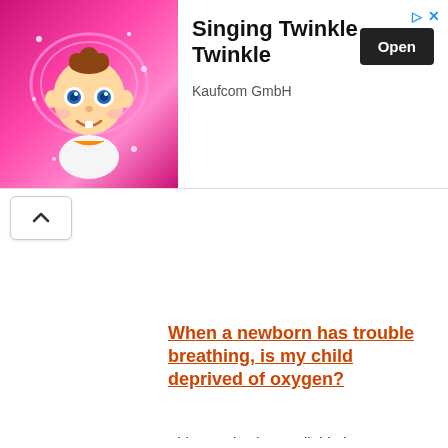[Figure (screenshot): Mobile app advertisement banner for 'Singing Twinkle Twinkle' by Kaufcom GmbH, showing a cartoon baby with pink background, an Open button, and close/ad icons]
When a newborn has trouble breathing, is my child deprived of oxygen?
This post is also available in: SvenskaIn the mother's womb, a baby does not need to be able t...